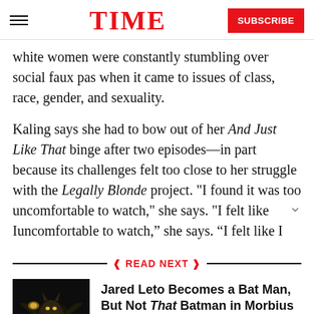TIME | SUBSCRIBE
white women were constantly stumbling over social faux pas when it came to issues of class, race, gender, and sexuality.
Kaling says she had to bow out of her And Just Like That binge after two episodes—in part because its challenges felt too close to her struggle with the Legally Blonde project. "I found it was too uncomfortable to watch," she says. "I felt like I
READ NEXT
[Figure (photo): Dark cinematic still from Morbius film showing a bat-like figure]
Jared Leto Becomes a Bat Man, But Not That Batman in Morbius